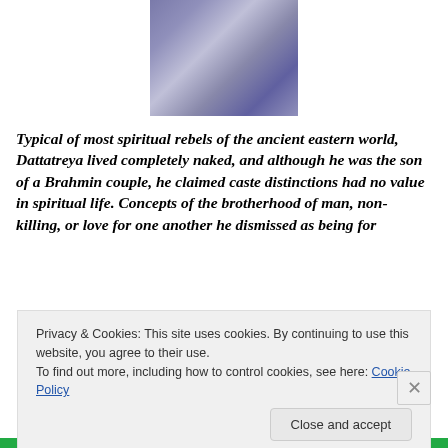[Figure (illustration): A stylized illustration of a figure (Dattatreya), rendered in purple/blue metallic tones, showing the torso and head area with decorative elements.]
Typical of most spiritual rebels of the ancient eastern world, Dattatreya lived completely naked, and although he was the son of a Brahmin couple, he claimed caste distinctions had no value in spiritual life. Concepts of the brotherhood of man, non-killing, or love for one another he dismissed as being for
Privacy & Cookies: This site uses cookies. By continuing to use this website, you agree to their use.
To find out more, including how to control cookies, see here: Cookie Policy
Close and accept